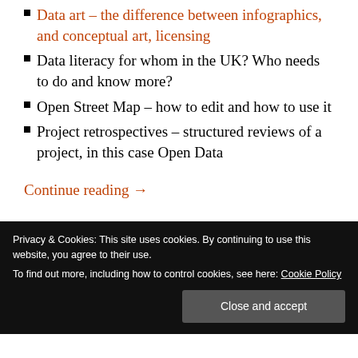Data art – the difference between infographics, and conceptual art, licensing
Data literacy for whom in the UK? Who needs to do and know more?
Open Street Map – how to edit and how to use it
Project retrospectives – structured reviews of a project, in this case Open Data
Continue reading →
Privacy & Cookies: This site uses cookies. By continuing to use this website, you agree to their use. To find out more, including how to control cookies, see here: Cookie Policy
Close and accept